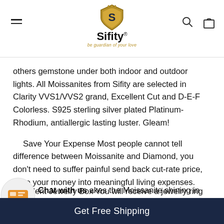[Figure (logo): Sifity brand logo with shield icon, brand name 'Sifity' and tagline 'be guardian of your love']
others gemstone under both indoor and outdoor lights. All Moissanites from Sifity are selected in Clarity VVS1/VVS2 grand, Excellent Cut and D-E-F Colorless. S925 sterling silver plated Platinum-Rhodium, antiallergic lasting luster. Gleam!
Save Your Expense Most people cannot tell difference between Moissanite and Diamond, you don't need to suffer painful send back cut-rate price, save your money into meaningful living expenses.
Excellent Jewelry Box You will receive a jewelry ring box with
Chat with us akes the Moissanite shining in right
Get Free Shipping